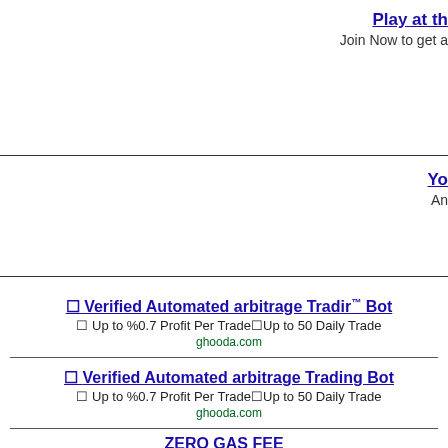Play at th
Join Now to get a
Yo
An
✦ Verified Automated arbitrage Trading Bot
✦ Up to %0.7 Profit Per Trade✦Up to 50 Daily Trade
ghooda.com
✦ Verified Automated arbitrage Trading Bot
✦ Up to %0.7 Profit Per Trade✦Up to 50 Daily Trade
ghooda.com
ZERO GAS FEE